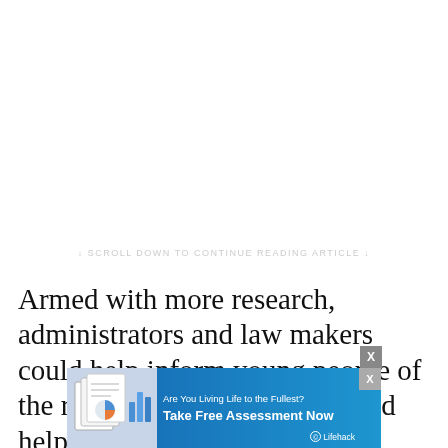↓ SCROLL DOWN TO CONTINUE READING ARTICLE ↓
Armed with more research, administrators and law makers could help inform young people of the risks of smoking hookah and help prevent the dangerous diseases that are often attributed only to cigarettes.
[Figure (infographic): Advertisement banner for Lifehack. Blue gradient background with document imagery on left, text 'Are You Living Life to the Fullest?' and 'Take Free Assessment Now' with Lifehack branding.]